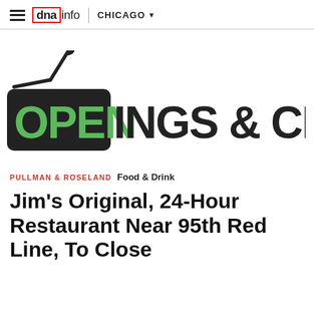dnainfo CHICAGO
[Figure (logo): Openings & Closings logo — a hanging store sign shape in black with green text 'OPEN' and black text 'INGS & CLOSINGS', with a nail/hook graphic above]
PULLMAN & ROSELAND  Food & Drink
Jim's Original, 24-Hour Restaurant Near 95th Red Line, To Close